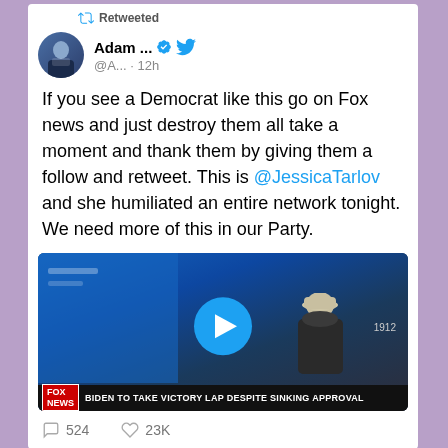Retweeted
Adam ... @A... · 12h
If you see a Democrat like this go on Fox news and just destroy them all take a moment and thank them by giving them a follow and retweet. This is @JessicaTarlov and she humiliated an entire network tonight. We need more of this in our Party.
[Figure (screenshot): Video thumbnail showing a Fox News broadcast with a play button overlay. Lower banner reads: BIDEN TO TAKE VICTORY LAP DESPITE SINKING APPROVAL]
524    23K